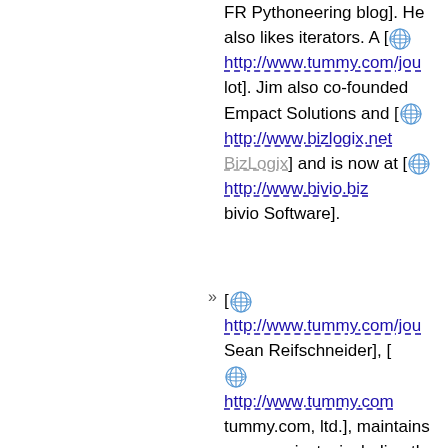FR Pythoneering blog]. He also likes iterators. A [ http://www.tummy.com/jou lot]. Jim also co-founded Empact Solutions and [ http://www.bizlogix.net BizLogix] and is now at [ http://www.bivio.biz bivio Software].
[ http://www.tummy.com/jou Sean Reifschneider], [ http://www.tummy.com tummy.com, ltd.], maintains many projects, including the [